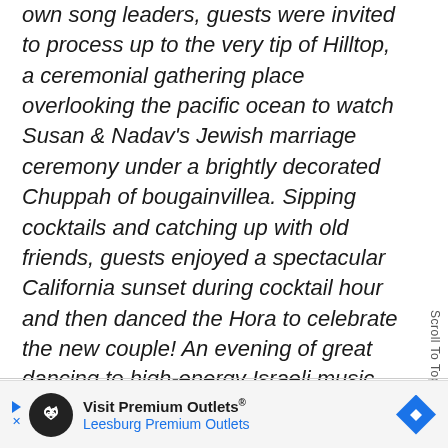own song leaders, guests were invited to process up to the very tip of Hilltop, a ceremonial gathering place overlooking the pacific ocean to watch Susan & Nadav's Jewish marriage ceremony under a brightly decorated Chuppah of bougainvillea. Sipping cocktails and catching up with old friends, guests enjoyed a spectacular California sunset during cocktail hour and then danced the Hora to celebrate the new couple! An evening of great dancing to high-energy Israeli music ensued under a canopy of twinkle lights in the dining hall into the late night hours.
Scroll To Top
[Figure (other): Advertisement banner for Visit Premium Outlets - Leesburg Premium Outlets with infinity loop icon and blue diamond navigation arrow]